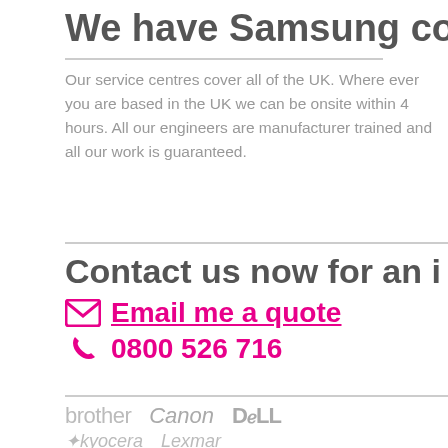We have Samsung cove
Our service centres cover all of the UK. Where ever you are based in the UK we can be onsite within 4 hours. All our engineers are manufacturer trained and all our work is guaranteed.
Contact us now for an i
Email me a quote
0800 526 716
[Figure (logo): Brand logos: brother, Canon, DELL]
[Figure (logo): Brand logos: Kyocera, Lexmark (partially visible)]